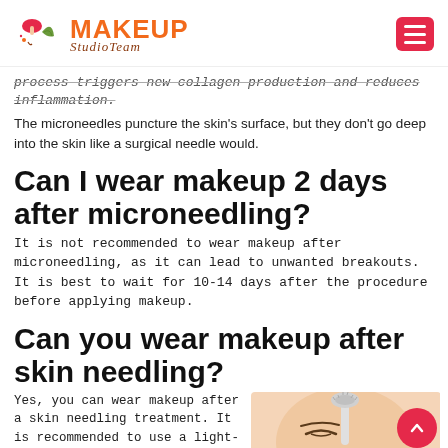Makeup Studio Team
process triggers new collagen production and reduces inflammation.
The microneedles puncture the skin's surface, but they don't go deep into the skin like a surgical needle would.
Can I wear makeup 2 days after microneedling?
It is not recommended to wear makeup after microneedling, as it can lead to unwanted breakouts. It is best to wait for 10-14 days after the procedure before applying makeup.
Can you wear makeup after skin needling?
Yes, you can wear makeup after a skin needling treatment. It is recommended to use a light-weight moisturizer and sunscreen.
[Figure (photo): Person applying a skin roller/microneedling device to their forehead, eyes closed, with a circular red scroll-to-top button overlay]
What should I do